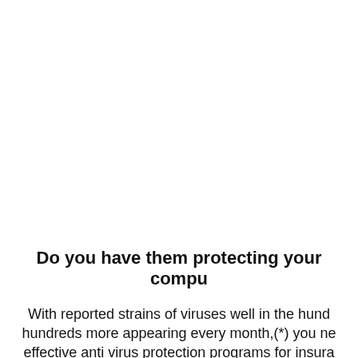Do you have them protecting your compu
With reported strains of viruses well in the hund hundreds more appearing every month,(*) you ne effective anti virus protection programs for insura
These virus infections can arrive as attachments